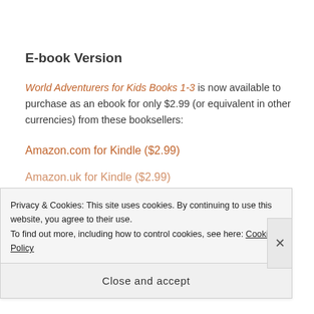E-book Version
World Adventurers for Kids Books 1-3 is now available to purchase as an ebook for only $2.99 (or equivalent in other currencies) from these booksellers:
Amazon.com for Kindle ($2.99)
Amazon.uk for Kindle ($2.99)
Privacy & Cookies: This site uses cookies. By continuing to use this website, you agree to their use.
To find out more, including how to control cookies, see here: Cookie Policy
Close and accept